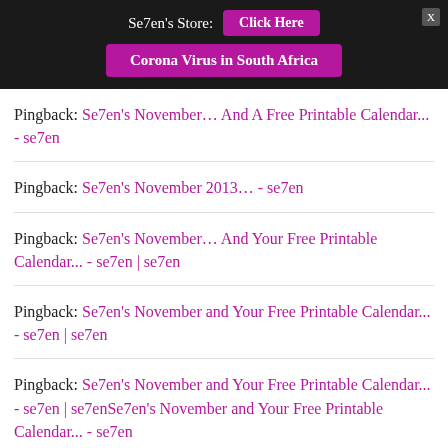Se7en's Store: [Click Here] [Corona Virus in South Africa]
Pingback: Se7en's November… And A Free Printable Calendar... - se7en
Pingback: Se7en's November 2013… - se7en
Pingback: Se7en's November… And Your Free Printable Calendar... - se7en | se7en
Pingback: Se7en's November and Your Free Printable Calendar... - se7en | se7en
Pingback: Se7en's November and Your Free Printable Calendar... - se7en | se7enSe7en's November and Your Free Printable Calendar... - se7en